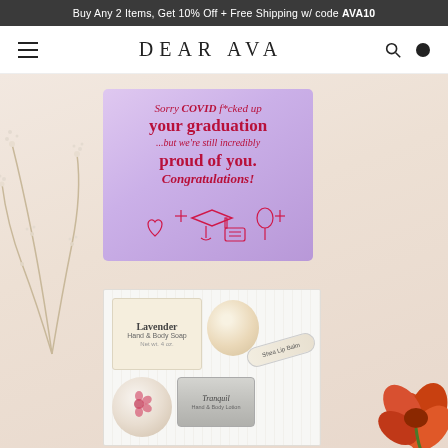Buy Any 2 Items, Get 10% Off + Free Shipping w/ code AVA10
DEAR AVA
[Figure (photo): A gift box containing a lavender hand and body soap bar, a beige bath bomb, a shea lip balm, a bath bomb with floral decoration, and a Tranquil tin. Above the box is a purple graduation congratulations card reading: Sorry COVID f*cked up your graduation ...but we're still incredibly proud of you. Congratulations! Surrounded by floral decorations on a pink-beige background.]